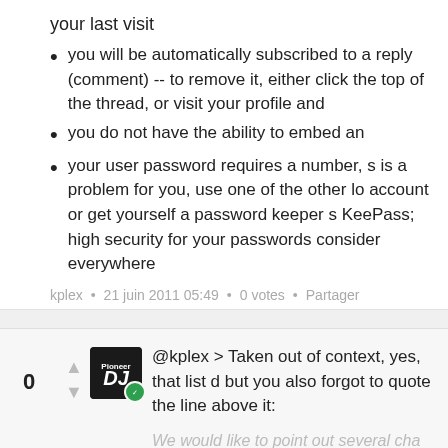your last visit
you will be automatically subscribed to a reply (comment) -- to remove it, either click the top of the thread, or visit your profile and
you do not have the ability to embed an
your user password requires a number, s is a problem for you, use one of the other lo account or get yourself a password keeper s KeePass; high security for your passwords consider everywhere
kplex • 21 juin 2011 05:49 • 0 votes • Partager
@kplex > Taken out of context, yes, that list d but you also forgot to quote the line above it:
We would like to point out several cha from our previous forum software as s